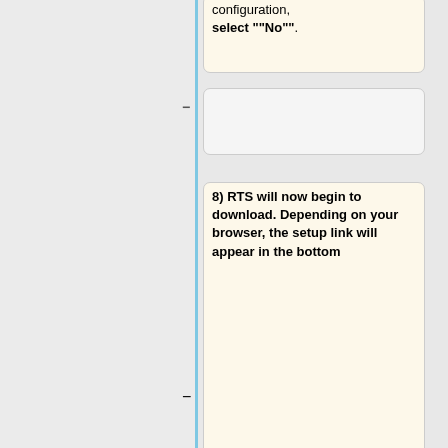configuration, select ""No"".
[Figure (other): Empty white box (wiki diff)]
8) RTS will now begin to download. Depending on your browser, the setup link will appear in the bottom
of the browser, or in the right-hand corner.
[Figure (other): Empty white box (wiki diff left)]
[Figure (other): Empty white box (wiki diff right)]
[[File:Installing_RTS2.PNG|150px]]<br/><br/>
==Connecting RTS to your Server when Inside the Network